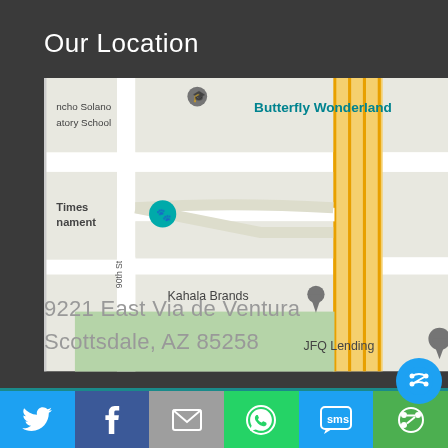Our Location
[Figure (map): Google Maps screenshot showing area around 9221 East Via de Ventura, Scottsdale AZ 85258, featuring landmarks: Butterfly Wonderland, Rancho Solano Preparatory School, Better Times Tournament, Kahala Brands, JFQ Lending, and 90th St. A major road (likely 90th St/Scottsdale Rd) runs vertically in yellow/orange.]
9221 East Via de Ventura
scottsdale, AZ 85258